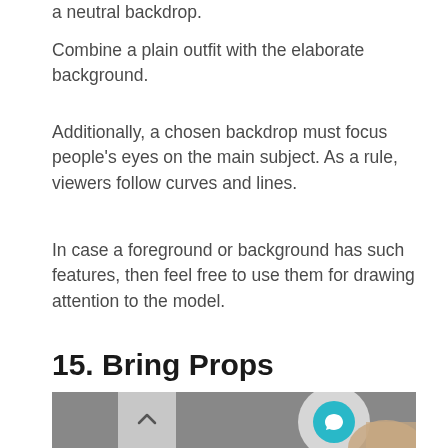a neutral backdrop.
Combine a plain outfit with the elaborate background.
Additionally, a chosen backdrop must focus people’s eyes on the main subject. As a rule, viewers follow curves and lines.
In case a foreground or background has such features, then feel free to use them for drawing attention to the model.
15. Bring Props
[Figure (photo): Gray background photo area with a back-to-top arrow button on the left, a circular chat icon on the upper right, and a partial view of a decorated hand at the bottom right.]